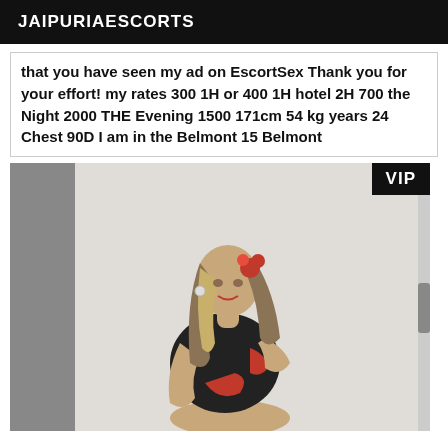JAIPURIAESCORTS
that you have seen my ad on EscortSex Thank you for your effort! my rates 300 1H or 400 1H hotel 2H 700 the Night 2000 THE Evening 1500 171cm 54 kg years 24 Chest 90D I am in the Belmont 15 Belmont
[Figure (photo): Woman in black and red outfit posing, with VIP badge in top right corner]